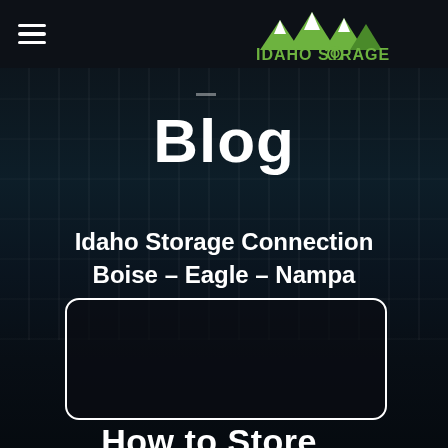Idaho Storage Connection — Navigation bar with hamburger menu and logo
Blog
Idaho Storage Connection
Boise – Eagle – Nampa
[Figure (other): Dark rounded rectangle / search input box area]
How to Store...